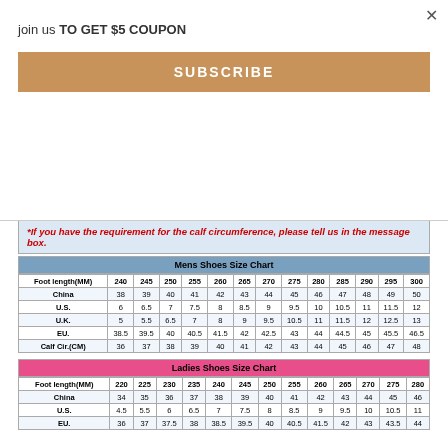join us TO GET $5 COUPON
SUBSCRIBE
*If you have the requirement for the calf circumference, please tell us in the message box.
| Mens Shoes Size Chart |
| --- |
| Foot length(MM) | 240 | 245 | 250 | 255 | 260 | 265 | 270 | 275 | 280 | 285 | 290 | 295 | 300 |
| China | 38 | 39 | 40 | 41 | 42 | 43 | 44 | 45 | 46 | 47 | 48 | 49 | 50 |
| U.S. | 6 | 6.5 | 7 | 7.5 | 8 | 8.5 | 9 | 9.5 | 10 | 10.5 | 11 | 11.5 | 12 |
| U.K. | 5 | 5.5 | 6.5 | 7 | 8 | 9 | 9.5 | 10.5 | 11 | 11.5 | 12 | 12.5 | 13 |
| EU. | 38.5 | 39.5 | 40 | 40.5 | 41.5 | 42 | 42.5 | 43 | 44 | 44.5 | 45 | 45.5 | 46.5 |
| Calf Cir.(CM) | 36 | 37 | 38 | 39 | 40 | 41 | 42 | 43 | 44 | 45 | 46 | 47 | 48 |
| Ladies Shoes Size Chart |
| --- |
| Foot length(MM) | 220 | 225 | 230 | 235 | 240 | 245 | 250 | 255 | 260 | 265 | 270 | 275 | 280 |
| China | 34 | 35 | 36 | 37 | 38 | 39 | 40 | 41 | 42 | 43 | 44 | 45 | 46 |
| U.S. | 4.5 | 5.5 | 6 | 6.5 | 7 | 7.5 | 8 | 8.5 | 9 | 9.5 | 10 | 10.5 | 11 |
| EU. | 36 | 37 | 37.5 | 38 | 38.5 | 39.5 | 40 | 40.5 | 41.5 | 42 | 43 | 43.5 | 44 |